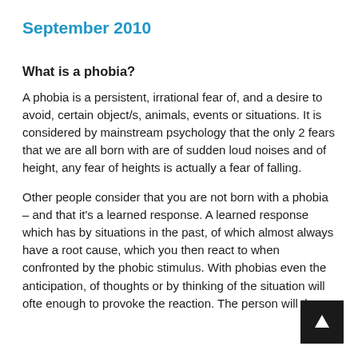September 2010
What is a phobia?
A phobia is a persistent, irrational fear of, and a desire to avoid, certain object/s, animals, events or situations. It is considered by mainstream psychology that the only 2 fears that we are all born with are of sudden loud noises and of height, any fear of heights is actually a fear of falling.
Other people consider that you are not born with a phobia – and that it's a learned response. A learned response which has by situations in the past, of which almost always have a root cause, which you then react to when confronted by the phobic stimulus. With phobias even the anticipation, of thoughts or by thinking of the situation will often enough to provoke the reaction. The person will then